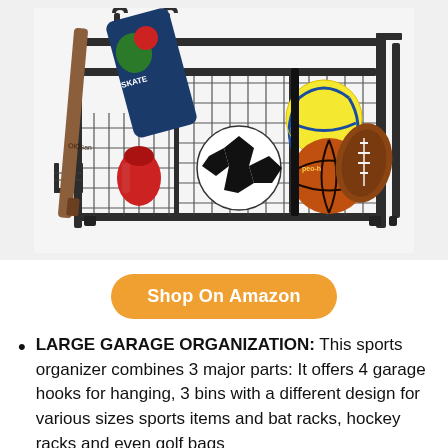[Figure (photo): A metal wire garage sports organizer rack holding various sports balls including a volleyball, basketball, football, soccer ball, boxing gloves, skateboard, and a baseball bat leaning against the side. The rack has multiple wire mesh bins and hooks.]
Shop On Amazon
LARGE GARAGE ORGANIZATION: This sports organizer combines 3 major parts: It offers 4 garage hooks for hanging, 3 bins with a different design for various sizes sports items and bat racks, hockey racks and even golf bags